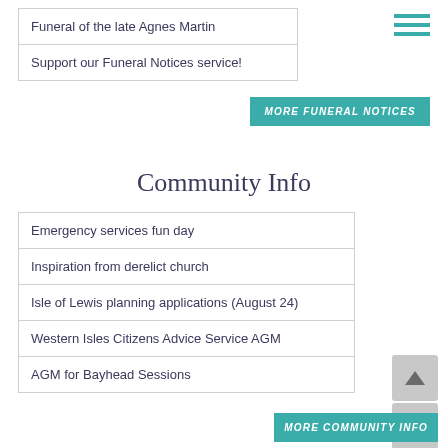Funeral of the late Agnes Martin
Support our Funeral Notices service!
MORE FUNERAL NOTICES
Community Info
Emergency services fun day
Inspiration from derelict church
Isle of Lewis planning applications (August 24)
Western Isles Citizens Advice Service AGM
AGM for Bayhead Sessions
MORE COMMUNITY INFO